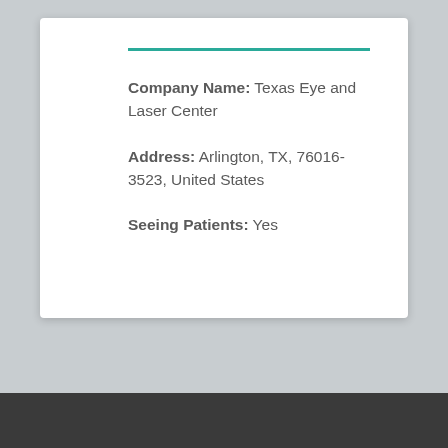Company Name: Texas Eye and Laser Center
Address: Arlington, TX, 76016-3523, United States
Seeing Patients: Yes